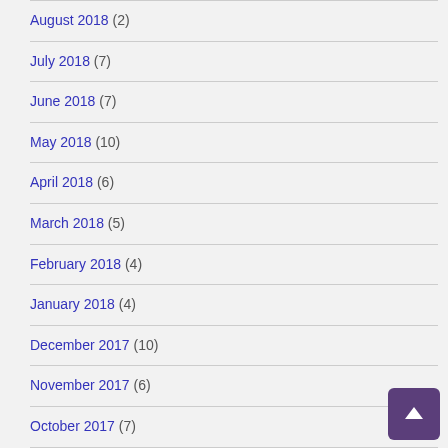August 2018 (2)
July 2018 (7)
June 2018 (7)
May 2018 (10)
April 2018 (6)
March 2018 (5)
February 2018 (4)
January 2018 (4)
December 2017 (10)
November 2017 (6)
October 2017 (7)
September 2017 (8)